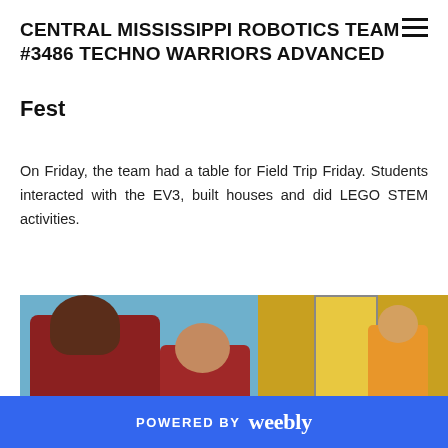CENTRAL MISSISSIPPI ROBOTICS TEAM #3486 TECHNO WARRIORS ADVANCED
Fest
On Friday, the team had a table for Field Trip Friday. Students interacted with the EV3, built houses and did LEGO STEM activities.
[Figure (photo): Students in red Techno Warriors shirts interacting with children at a table during Field Trip Friday at an event venue. A woman in a yellow shirt is visible in the background near a yellow-lit entrance.]
POWERED BY weebly